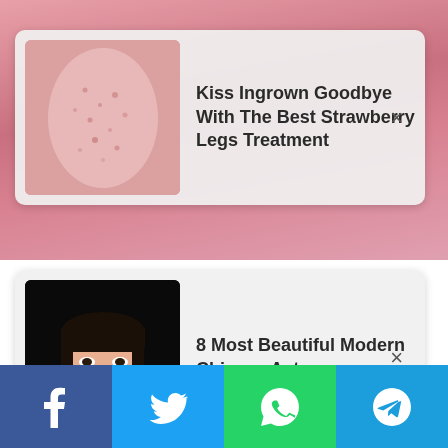[Figure (screenshot): Background photo of a woman on a pink background, partially visible behind advertisement cards]
Kiss Ingrown Goodbye With The Best Strawberry Legs Treatment
8 Most Beautiful Modern Chinese Actresses
[Figure (infographic): Social share bar with Facebook, Twitter, WhatsApp, and Telegram buttons at the bottom]